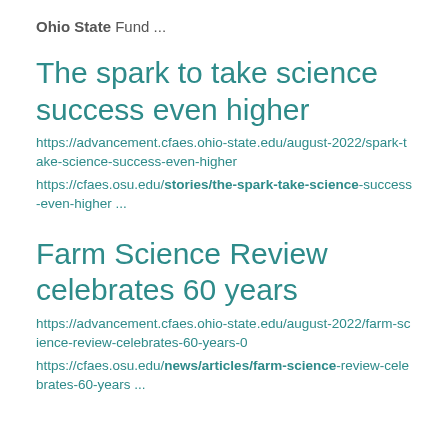Ohio State Fund ...
The spark to take science success even higher
https://advancement.cfaes.ohio-state.edu/august-2022/spark-take-science-success-even-higher
https://cfaes.osu.edu/stories/the-spark-take-science-success-even-higher ...
Farm Science Review celebrates 60 years
https://advancement.cfaes.ohio-state.edu/august-2022/farm-science-review-celebrates-60-years-0
https://cfaes.osu.edu/news/articles/farm-science-review-celebrates-60-years ...